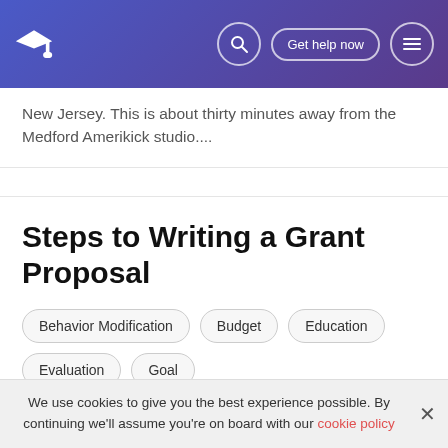Get help now
New Jersey. This is about thirty minutes away from the Medford Amerikick studio....
Steps to Writing a Grant Proposal
Behavior Modification
Budget
Education
Evaluation
Goal
Words: 1486 (6 pages)
When writing a grant proposal it is very important to include each step of the process. Ensuring that each step submitted. A grant proposal should include the
We use cookies to give you the best experience possible. By continuing we'll assume you're on board with our cookie policy